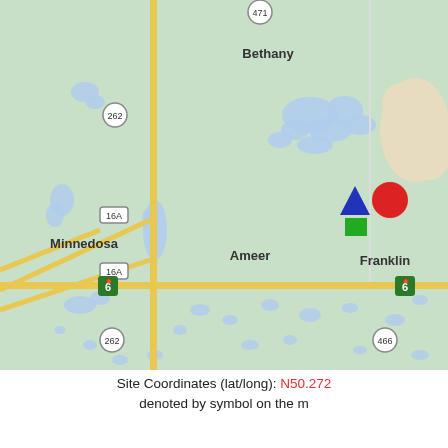[Figure (map): Road map showing the Minnedosa/Ameer/Bethany/Franklin area in Manitoba, Canada. Features highway routes 471, 262, 16A, 16, and 466. Towns labeled include Bethany, Minnedosa, Ameer, and Franklin. A cluster of three symbols (blue triangle, red circle, green square) is shown near the Franklin area indicating site coordinates. Water bodies shown in light blue. Roads shown in yellow/orange. A beige land area in upper right.]
Site Coordinates (lat/long): N50.272... denoted by symbol on the m...